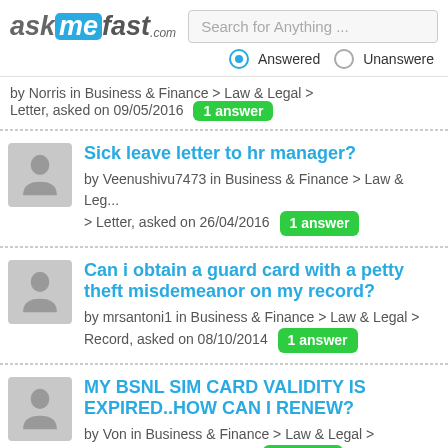[Figure (logo): AskMeFast.com logo with blue 'me' highlight]
Search for Anything ...
Answered  Unanswered
by Norris in Business & Finance > Law & Legal > Letter, asked on 09/05/2016  1 answer
Sick leave letter to hr manager? by Veenushivu7473 in Business & Finance > Law & Legal > Letter, asked on 26/04/2016  1 answer
Can i obtain a guard card with a petty theft misdemeanor on my record? by mrsantoni1 in Business & Finance > Law & Legal > Record, asked on 08/10/2014  1 answer
MY BSNL SIM CARD VALIDITY IS EXPIRED..HOW CAN I RENEW? by Von in Business & Finance > Law & Legal > Card, asked on 04/03/2013  1 answer